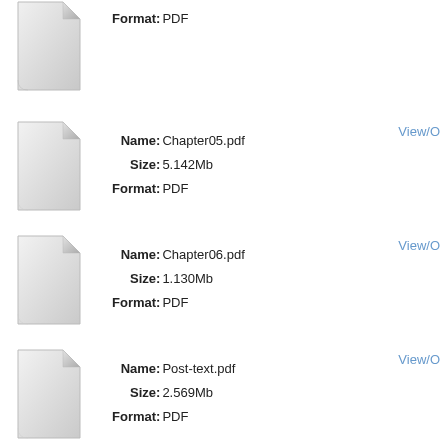[Figure (illustration): Generic PDF file icon for Chapter05.pdf (document with folded corner, light gray gradient)]
Name: Chapter05.pdf
Size: 5.142Mb
Format: PDF
[Figure (illustration): Generic PDF file icon for Chapter06.pdf (document with folded corner, light gray gradient)]
Name: Chapter06.pdf
Size: 1.130Mb
Format: PDF
[Figure (illustration): Generic PDF file icon for Post-text.pdf (document with folded corner, light gray gradient)]
Name: Post-text.pdf
Size: 2.569Mb
Format: PDF
This item appears in the following Collection(s)